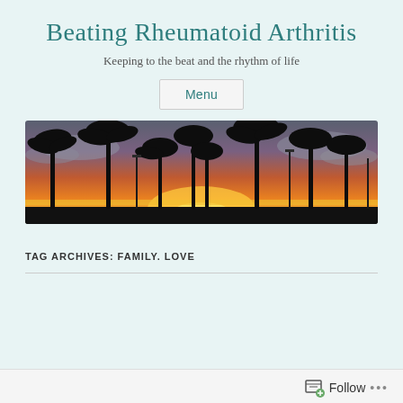Beating Rheumatoid Arthritis
Keeping to the beat and the rhythm of life
Menu
[Figure (photo): Panoramic sunset photo with palm tree silhouettes against a vivid orange and purple sky, street lights visible, taken at a beach or park promenade.]
TAG ARCHIVES: FAMILY. LOVE
Follow ...